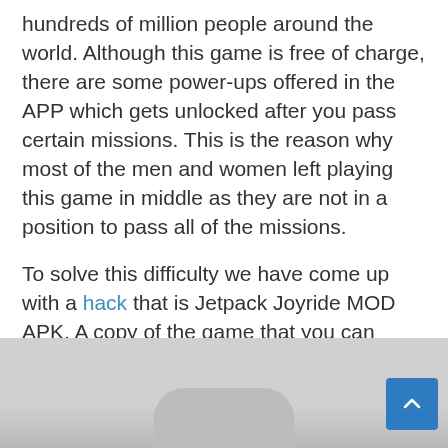hundreds of million people around the world. Although this game is free of charge, there are some power-ups offered in the APP which gets unlocked after you pass certain missions. This is the reason why most of the men and women left playing this game in middle as they are not in a position to pass all of the missions.
To solve this difficulty we have come up with a hack that is Jetpack Joyride MOD APK. A copy of the game that you can install and have everything free and unlimited coins etc. You can download latest Jetpack Joyride APK HACK further below.
[Figure (photo): Partially visible image showing a rounded rectangular shape (appears to be a game screenshot or device), gray background, cropped at bottom of page.]